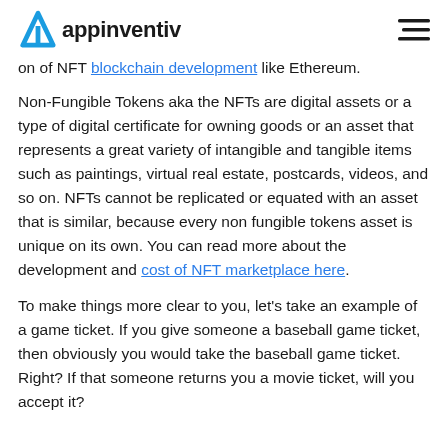appinventiv
on of NFT blockchain development like Ethereum.
Non-Fungible Tokens aka the NFTs are digital assets or a type of digital certificate for owning goods or an asset that represents a great variety of intangible and tangible items such as paintings, virtual real estate, postcards, videos, and so on. NFTs cannot be replicated or equated with an asset that is similar, because every non fungible tokens asset is unique on its own. You can read more about the development and cost of NFT marketplace here.
To make things more clear to you, let's take an example of a game ticket. If you give someone a baseball game ticket, then obviously you would take the baseball game ticket. Right? If that someone returns you a movie ticket, will you accept it?